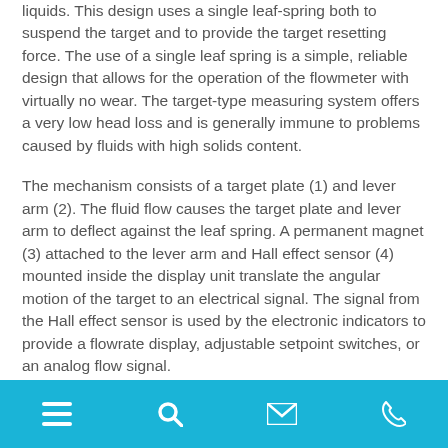liquids. This design uses a single leaf-spring both to suspend the target and to provide the target resetting force. The use of a single leaf spring is a simple, reliable design that allows for the operation of the flowmeter with virtually no wear. The target-type measuring system offers a very low head loss and is generally immune to problems caused by fluids with high solids content.
The mechanism consists of a target plate (1) and lever arm (2). The fluid flow causes the target plate and lever arm to deflect against the leaf spring. A permanent magnet (3) attached to the lever arm and Hall effect sensor (4) mounted inside the display unit translate the angular motion of the target to an electrical signal. The signal from the Hall effect sensor is used by the electronic indicators to provide a flowrate display, adjustable setpoint switches, or an analog flow signal.
Navigation bar with menu, search, email, and phone icons